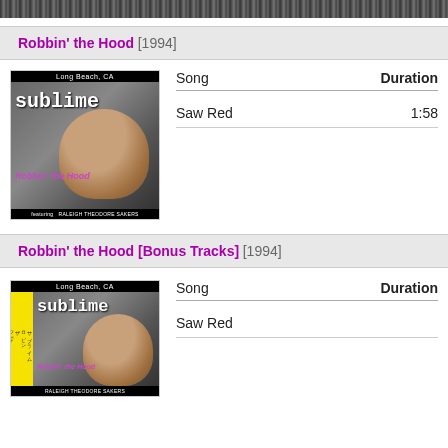[Figure (photo): Top cropped album/image strip in grayscale]
Robbin' the Hood [1994]
[Figure (photo): Sublime 'Robbin' the Hood' album cover - Long Beach CA, featuring Raleigh Theodore Sakers]
| Song | Duration |
| --- | --- |
| Saw Red | 1:58 |
Robbin' the Hood [Bonus Tracks] [1994]
[Figure (photo): Sublime 'Robbin' the Hood' Japanese edition album cover with yellow obi strip]
| Song | Duration |
| --- | --- |
| Saw Red |  |